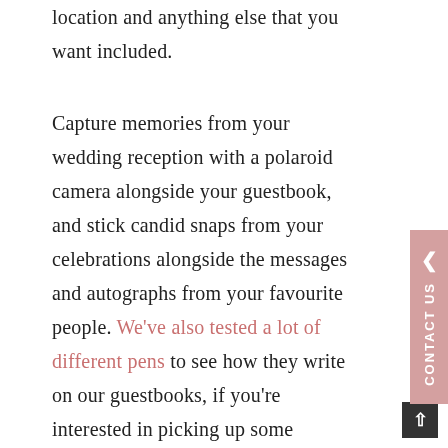location and anything else that you want included.
Capture memories from your wedding reception with a polaroid camera alongside your guestbook, and stick candid snaps from your celebrations alongside the messages and autographs from your favourite people. We've also tested a lot of different pens to see how they write on our guestbooks, if you're interested in picking up some special pens.
Our guestbooks can be used for many special events, as visitor books, photo books and even